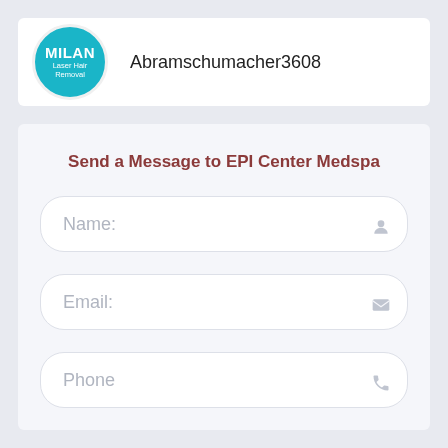[Figure (logo): Milan Laser Hair Removal circular logo in teal/cyan color with white text]
Abramschumacher3608
Send a Message to EPI Center Medspa
Name:
Email:
Phone